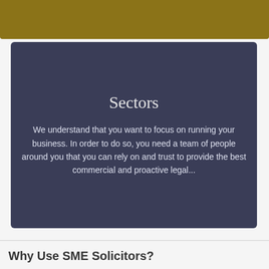[Figure (other): Gold/olive colored banner bar at the top of the page]
Sectors
We understand that you want to focus on running your business. In order to do so, you need a team of people around you that you can rely on and trust to provide the best commercial and proactive legal...
Why Use SME Solicitors?